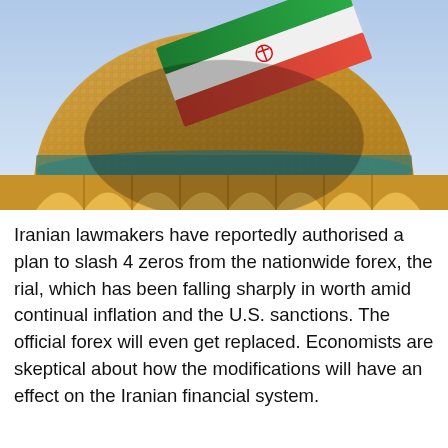[Figure (photo): A photograph of an ornate Islamic mosque dome covered in golden mosaic tilework, with the Iranian flag (green, white, red stripes with emblem) waving in the foreground against a blue sky. Lower portion shows tiled arched architecture in teal and gold.]
Iranian lawmakers have reportedly authorised a plan to slash 4 zeros from the nationwide forex, the rial, which has been falling sharply in worth amid continual inflation and the U.S. sanctions. The official forex will even get replaced. Economists are skeptical about how the modifications will have an effect on the Iranian financial system.